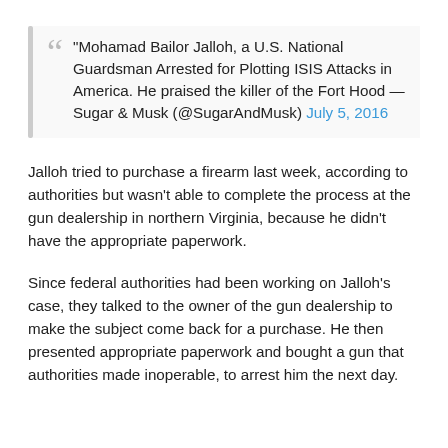"Mohamad Bailor Jalloh, a U.S. National Guardsman Arrested for Plotting ISIS Attacks in America. He praised the killer of the Fort Hood — Sugar & Musk (@SugarAndMusk) July 5, 2016
Jalloh tried to purchase a firearm last week, according to authorities but wasn't able to complete the process at the gun dealership in northern Virginia, because he didn't have the appropriate paperwork.
Since federal authorities had been working on Jalloh's case, they talked to the owner of the gun dealership to make the subject come back for a purchase. He then presented appropriate paperwork and bought a gun that authorities made inoperable, to arrest him the next day.